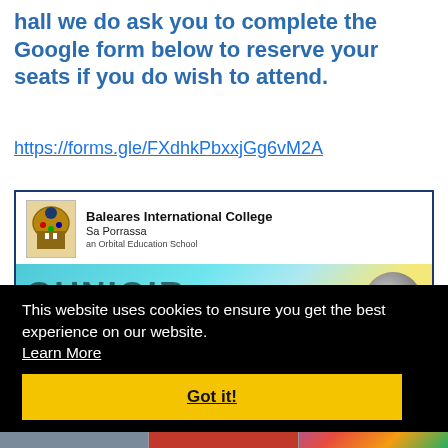hall we do ask you to complete the Google form below to reserve your seats if you do wish to attend.
https://forms.gle/FXdhkPbxxjGg6vM2A
[Figure (screenshot): Baleares International College Sa Porrassa an Orbital Education School website screenshot with colorful banner]
This website uses cookies to ensure you get the best experience on our website. Learn More
Got it!
[Figure (photo): Bottom strip showing three small thumbnail images]